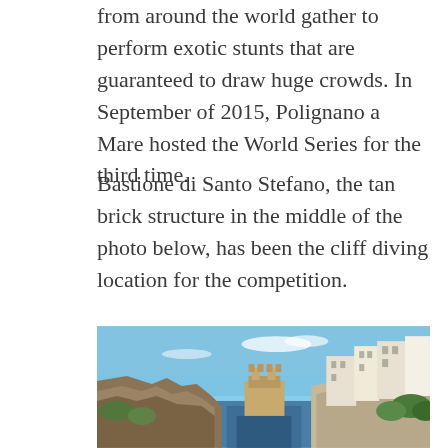from around the world gather to perform exotic stunts that are guaranteed to draw huge crowds. In September of 2015, Polignano a Mare hosted the World Series for the third time.
Bastione di Santo Stefano, the tan brick structure in the middle of the photo below, has been the cliff diving location for the competition.
[Figure (photo): Photograph of Polignano a Mare coastal cliffs with white and tan buildings built on rocky cliffs, a narrow sea inlet, blue sky with light clouds, and lush green vegetation.]